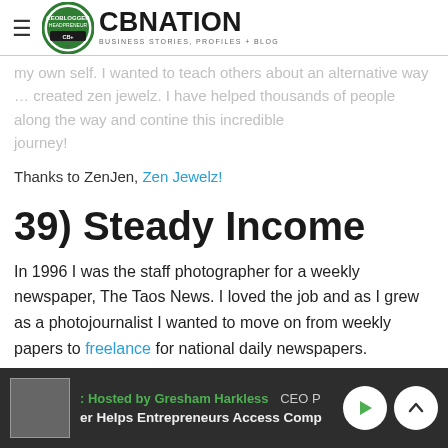CBNation — Business Stories, Profiles + Blog
my own self. I wanted to teach others about an alternative way … created zen jewelz. I have helped thousands of people along the way and contine this incredible journey!
Thanks to ZenJen, Zen Jewelz!
39) Steady Income
In 1996 I was the staff photographer for a weekly newspaper, The Taos News. I loved the job and as I grew as a photojournalist I wanted to move on from weekly papers to freelance for national daily newspapers. Fortunately, I was successful as a freelancer but even being successful  does
Hosted by Gresham Harkless | CEO Podcast | Helps Entrepreneurs Access Comp…